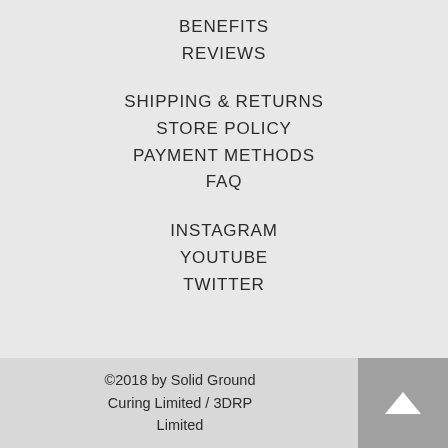BENEFITS
REVIEWS
SHIPPING & RETURNS
STORE POLICY
PAYMENT METHODS
FAQ
INSTAGRAM
YOUTUBE
TWITTER
©2018 by Solid Ground Curing Limited / 3DRP Limited